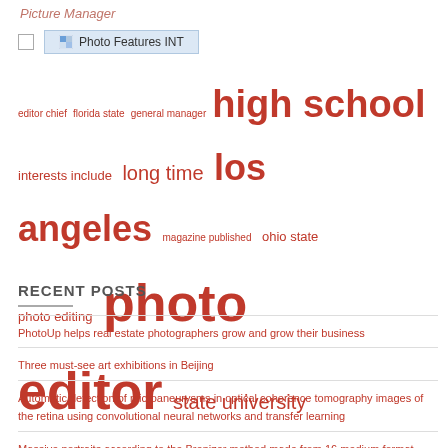Picture Manager
[Figure (screenshot): UI bar with checkbox and button labeled 'Photo Features INT' on light blue background]
[Figure (infographic): Tag cloud with red text tags of varying sizes: editor chief, florida state, general manager, high school, interests include, long time, los angeles, magazine published, ohio state, photo editing, photo editor, state university, united states, vice president, wide range]
RECENT POSTS
PhotoUp helps real estate photographers grow and grow their business
Three must-see art exhibitions in Beijing
Automatic detection of microaneurysms in optical coherence tomography images of the retina using convolutional neural networks and transfer learning
Massive portraits according to the Brenizer method made from 16 medium format photos